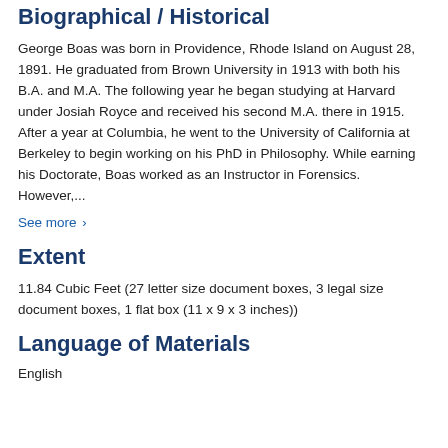Biographical / Historical
George Boas was born in Providence, Rhode Island on August 28, 1891. He graduated from Brown University in 1913 with both his B.A. and M.A. The following year he began studying at Harvard under Josiah Royce and received his second M.A. there in 1915. After a year at Columbia, he went to the University of California at Berkeley to begin working on his PhD in Philosophy. While earning his Doctorate, Boas worked as an Instructor in Forensics. However,...
See more ›
Extent
11.84 Cubic Feet (27 letter size document boxes, 3 legal size document boxes, 1 flat box (11 x 9 x 3 inches))
Language of Materials
English